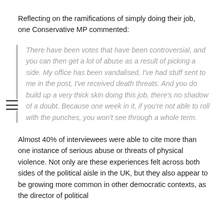Reflecting on the ramifications of simply doing their job, one Conservative MP commented:
There have been votes that have been controversial, and you can then get a lot of abuse as a result of picking a side. My office has been vandalised, I've had stuff sent to me in the post, I've received death threats. And you do build up a very thick skin doing this job, there's no shadow of a doubt. Because one week in it, if you're not able to roll with the punches, you won't see through a whole term.
Almost 40% of interviewees were able to cite more than one instance of serious abuse or threats of physical violence. Not only are these experiences felt across both sides of the political aisle in the UK, but they also appear to be growing more common in other democratic contexts, as the director of political